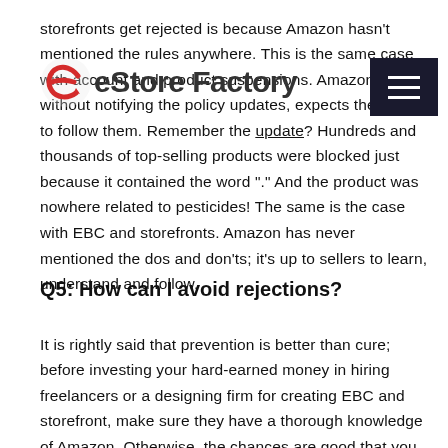eStore Factory
storefronts get rejected is because Amazon hasn't mentioned the rules anywhere. This is the same case with account and product suspensions. Amazon, without notifying the policy updates, expects the sellers to follow them. Remember the update? Hundreds and thousands of top-selling products were blocked just because it contained the word ".". And the product was nowhere related to pesticides! The same is the case with EBC and storefronts. Amazon has never mentioned the dos and don'ts; it's up to sellers to learn, understand and follow.
Q5: How can I avoid rejections?
It is rightly said that prevention is better than cure; before investing your hard-earned money in hiring freelancers or a designing firm for creating EBC and storefront, make sure they have a thorough knowledge of Amazon. Otherwise, the chances are good that you will be stuck in a cycle of rejections.